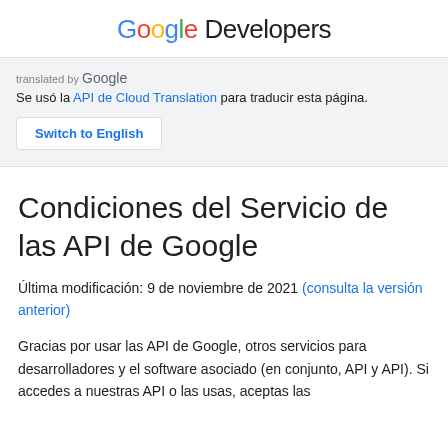Google Developers
translated by Google
Se usó la API de Cloud Translation para traducir esta página.
Switch to English
Condiciones del Servicio de las API de Google
Última modificación: 9 de noviembre de 2021 (consulta la versión anterior)
Gracias por usar las API de Google, otros servicios para desarrolladores y el software asociado (en conjunto, API y API). Si accedes a nuestras API o las usas, aceptas las